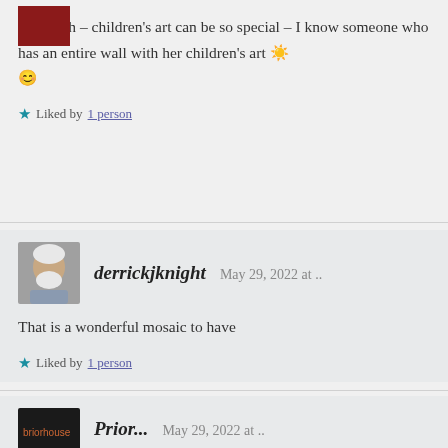[Figure (photo): Small dark red avatar image in top left]
Hi Norah – children's art can be so special – I know someone who has an entire wall with her children's art 🌟 😊
Liked by 1 person
[Figure (photo): Avatar photo of older man with white beard]
derrickjknight  May 29, 2022 at ..
That is a wonderful mosaic to have
Liked by 1 person
[Figure (photo): Small dark avatar with text briorhouse]
Prior...  May 29, 2022 at ..